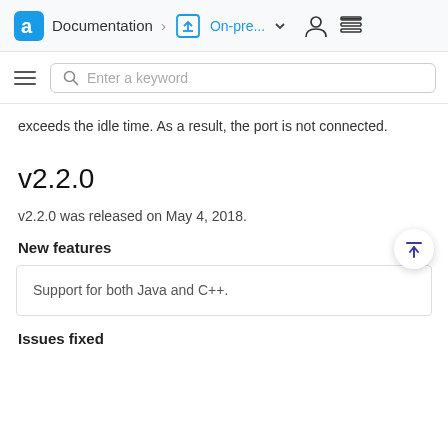Documentation > On-pre...
exceeds the idle time. As a result, the port is not connected.
v2.2.0
v2.2.0 was released on May 4, 2018.
New features
Support for both Java and C++.
Issues fixed